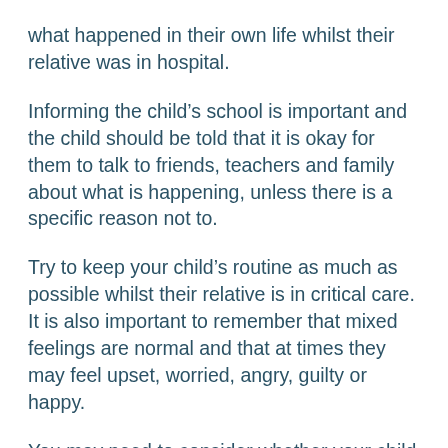what happened in their own life whilst their relative was in hospital.
Informing the child's school is important and the child should be told that it is okay for them to talk to friends, teachers and family about what is happening, unless there is a specific reason not to.
Try to keep your child's routine as much as possible whilst their relative is in critical care. It is also important to remember that mixed feelings are normal and that at times they may feel upset, worried, angry, guilty or happy.
You may need to consider whether your child